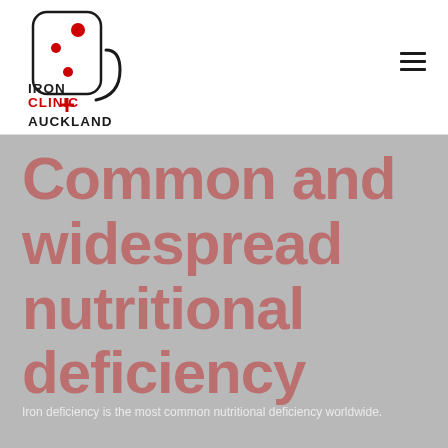[Figure (logo): Auckland Iron Clinic logo with stylized dice-like icon containing red dots, red plus sign, and curved J shape, with text AUCKLAND IRON CLINIC]
Common and widespread nutritional deficiency
Body text content partially visible at bottom of hero section